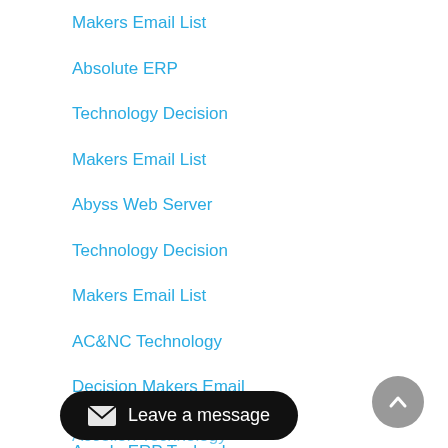Makers Email List
Absolute ERP
Technology Decision
Makers Email List
Abyss Web Server
Technology Decision
Makers Email List
AC&NC Technology
Decision Makers Email List
Accela ERP Technology
Decision Makers Email List
Accela Technology
Decision Makers Email
Accelion Technology